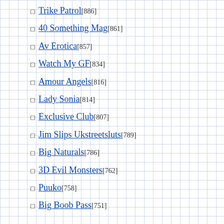Trike Patrol[886]
40 Something Mag[861]
Av Erotica[857]
Watch My GF[834]
Amour Angels[816]
Lady Sonia[814]
Exclusive Club[807]
Jim Slips Ukstreetsluts[789]
Big Naturals[786]
3D Evil Monsters[762]
Puuko[758]
Big Boob Pass[751]